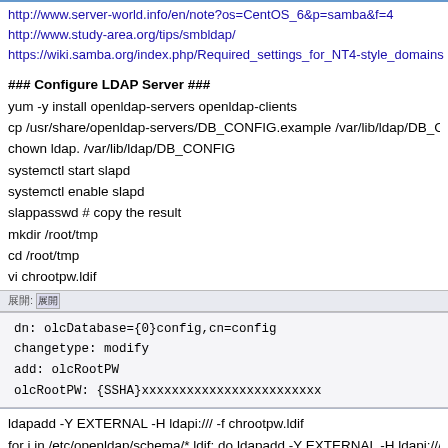http://www.server-world.info/en/note?os=CentOS_6&p=samba&f=4
http://www.study-area.org/tips/smbldap/
https://wiki.samba.org/index.php/Required_settings_for_NT4-style_domains
### Configure LDAP Server ###
yum -y install openldap-servers openldap-clients
cp /usr/share/openldap-servers/DB_CONFIG.example /var/lib/ldap/DB_CO
chown ldap. /var/lib/ldap/DB_CONFIG
systemctl start slapd
systemctl enable slapd
slappasswd # copy the result
mkdir /root/tmp
cd /root/tmp
vi chrootpw.ldif
展開: [展開]
dn: olcDatabase={0}config,cn=config
changetype: modify
add: olcRootPW
olcRootPW: {SSHA}xxxxxxxxxxxxxxxxxxxxxxxx
ldapadd -Y EXTERNAL -H ldapi:/// -f chrootpw.ldif
for i in /etc/openldap/schema/*.ldif; do ldapadd -Y EXTERNAL -H ldapi:/// -f
vi chdomain.ldif
展開: [展開]
dn: olcDatabase={1}monitor,cn=config
changetype: modify
replace: olcAccess
olcAccess: {0}to * by dn.base="gidNumber=0+uidNumber=0,cn=peercred,